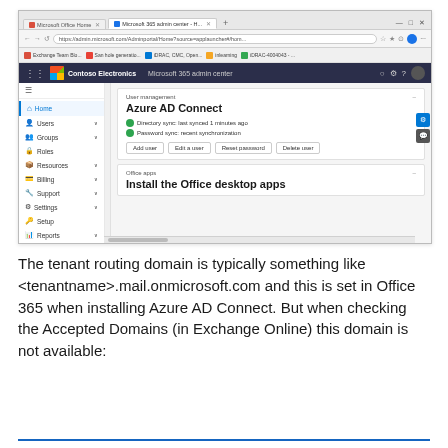[Figure (screenshot): Screenshot of Microsoft 365 admin center browser window showing Azure AD Connect status with Directory sync and Password sync indicators, and action buttons: Add user, Edit a user, Reset password, Delete user. Below is an Office apps section with 'Install the Office desktop apps' heading. Left sidebar shows navigation: Home, Users, Groups, Roles, Resources, Billing, Support, Settings, Setup, Reports.]
The tenant routing domain is typically something like <tenantname>.mail.onmicrosoft.com and this is set in Office 365 when installing Azure AD Connect. But when checking the Accepted Domains (in Exchange Online) this domain is not available: